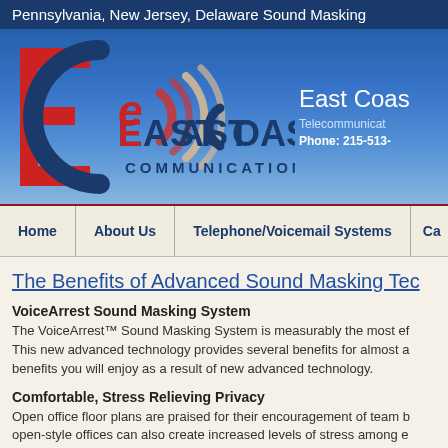Pennsylvania, New Jersey, Delaware Sound Masking
[Figure (logo): East Coast Communications logo with EC letters in red and blue with sound wave arcs]
East Coast Communications
Telecommunications
Phone: 215-513-
Home | About Us | Telephone/Voicemail Systems | Ca
The Benefits of Advanced Sound Masking Tec
VoiceArrest Sound Masking System
The VoiceArrest™ Sound Masking System is measurably the most ef This new advanced technology provides several benefits for almost a benefits you will enjoy as a result of new advanced technology.
Comfortable, Stress Relieving Privacy
Open office floor plans are praised for their encouragement of team b open-style offices can also create increased levels of stress among e work reduce problem solving skills by almost 40 percent and significa colleagues in quiet offices. These struggles with stress and concentr